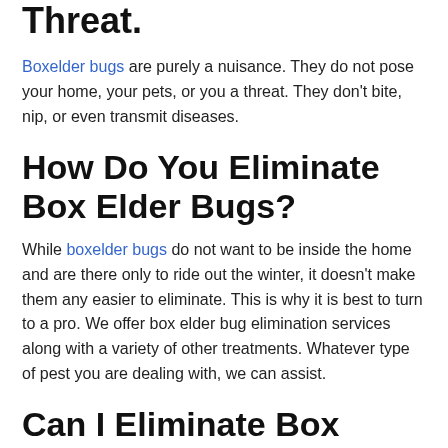Threat.
Boxelder bugs are purely a nuisance. They do not pose your home, your pets, or you a threat. They don't bite, nip, or even transmit diseases.
How Do You Eliminate Box Elder Bugs?
While boxelder bugs do not want to be inside the home and are there only to ride out the winter, it doesn't make them any easier to eliminate. This is why it is best to turn to a pro. We offer box elder bug elimination services along with a variety of other treatments. Whatever type of pest you are dealing with, we can assist.
Can I Eliminate Box Elder